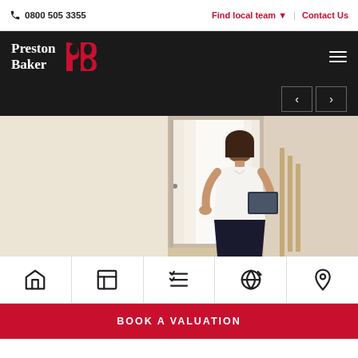0800 505 3355 | Find local team | Contact Us
[Figure (logo): Preston Baker logo with stylized P+B mark in red/white on black background]
[Figure (photo): Female estate agent in white top and black skirt holding a tablet, standing in a house doorway opening the door]
[Figure (infographic): Five icon navigation row: house icon, floor plan icon, checklist icon, globe/refresh icon, location pin icon]
BOOK A VALUATION